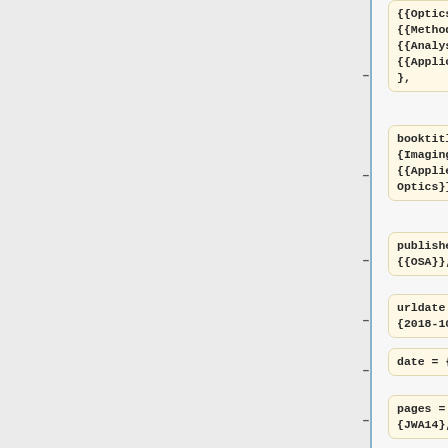{{Optics}}: {{Methods}}, {{Analysis}} and {{Applications}} },
booktitle = {Imaging and {{Applied Optics}}},
publisher = {{OSA}},
urldate = {2018-10-25},
date = {2011},
pages = {JWA14},
author = {Patel, Rikesh